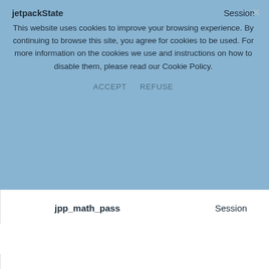[Figure (screenshot): Cookie consent banner with blue background showing text about cookies and ACCEPT/REFUSE buttons, overlaying a table of cookie names and durations]
| Cookie Name | Duration |
| --- | --- |
| jetpackState | Session |
| jpp_math_pass | Session |
| stnojs | 2 days |
| wordpress logged in {hash} | Session |